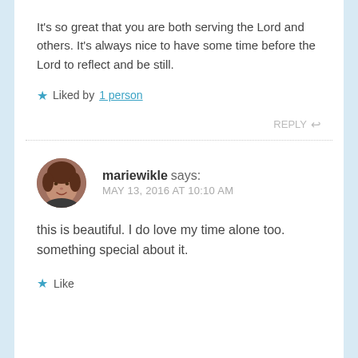It's so great that you are both serving the Lord and others. It's always nice to have some time before the Lord to reflect and be still.
★ Liked by 1 person
REPLY ↩
mariewikle says: MAY 13, 2016 AT 10:10 AM
this is beautiful. I do love my time alone too. something special about it.
★ Like